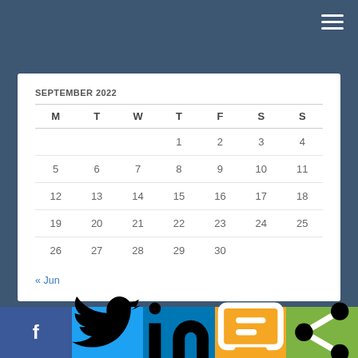SEPTEMBER 2022
| M | T | W | T | F | S | S |
| --- | --- | --- | --- | --- | --- | --- |
|  |  |  | 1 | 2 | 3 | 4 |
| 5 | 6 | 7 | 8 | 9 | 10 | 11 |
| 12 | 13 | 14 | 15 | 16 | 17 | 18 |
| 19 | 20 | 21 | 22 | 23 | 24 | 25 |
| 26 | 27 | 28 | 29 | 30 |  |  |
« Jun